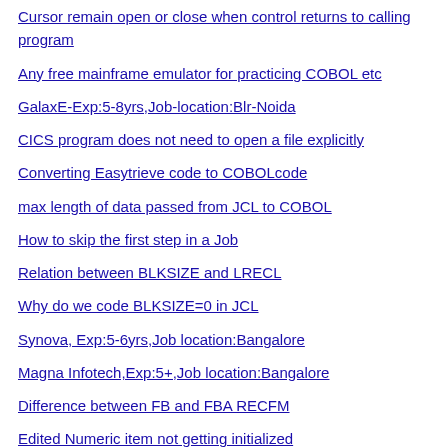Cursor remain open or close when control returns to calling program
Any free mainframe emulator for practicing COBOL etc
GalaxE-Exp:5-8yrs,Job-location:Blr-Noida
CICS program does not need to open a file explicitly
Converting Easytrieve code to COBOLcode
max length of data passed from JCL to COBOL
How to skip the first step in a Job
Relation between BLKSIZE and LRECL
Why do we code BLKSIZE=0 in JCL
Synova, Exp:5-6yrs,Job location:Bangalore
Magna Infotech,Exp:5+,Job location:Bangalore
Difference between FB and FBA RECFM
Edited Numeric item not getting initialized
TCS,Exp:2-8 Yrs,Job-Location:Delhi/NCR-23rd July 2011
NIIT Tech,Exp:3-8 Yrs,Job-Location:Delhi/NCR-23rd July 2011
What is special about this COBOL program